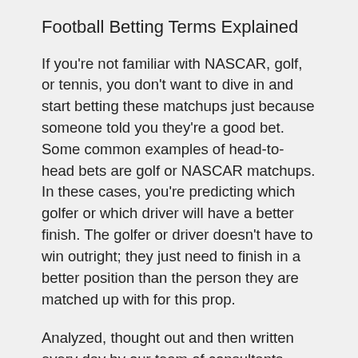Football Betting Terms Explained
If you're not familiar with NASCAR, golf, or tennis, you don't want to dive in and start betting these matchups just because someone told you they're a good bet. Some common examples of head-to-head bets are golf or NASCAR matchups. In these cases, you're predicting which golfer or which driver will have a better finish. The golfer or driver doesn't have to win outright; they just need to finish in a better position than the person they are matched up with for this prop.
Analyzed, thought out and then written every day by our team of consultants, SportyTrader's sports activities betting ideas are there to support you in the very best method. On a daily foundation, you'll read our editorial opinion on one of the best football, tennis, basketball and rugby competitions. Click on